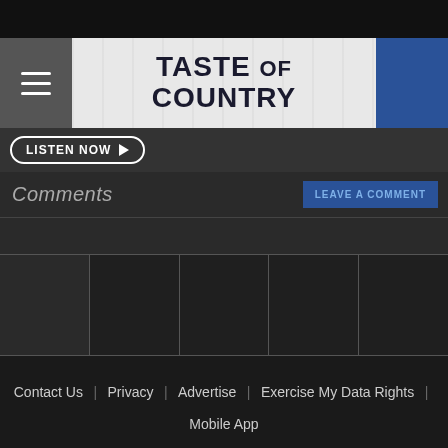[Figure (screenshot): Taste of Country website header with hamburger menu, logo, and blue block]
LISTEN NOW ▶
Comments
LEAVE A COMMENT
[Figure (screenshot): Row of thumbnail image placeholders]
Contact Us | Privacy | Advertise | Exercise My Data Rights | Mobile App
© 2022 Taste of Country Townsquare Media, Inc. All rights reserved.